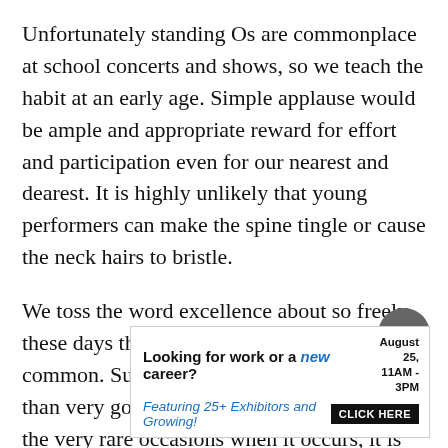Unfortunately standing Os are commonplace at school concerts and shows, so we teach the habit at an early age. Simple applause would be ample and appropriate reward for effort and participation even for our nearest and dearest. It is highly unlikely that young performers can make the spine tingle or cause the neck hairs to bristle.
We toss the word excellence about so freely these days that it has become mundane, even common. Surely excellence should be better than very good and virtually unobtainable. On the very rare occasions when it occurs, it is right that we all stand and clap and cheer.
[Figure (other): Circular scroll-to-top button, dark grey background with white upward chevron arrow]
[Figure (infographic): Advertisement banner: 'Looking for work or a new career?' with date 'August 25, 11AM - 3PM', subline 'Featuring 25+ Exhibitors and Growing!' and a black 'CLICK HERE' button]